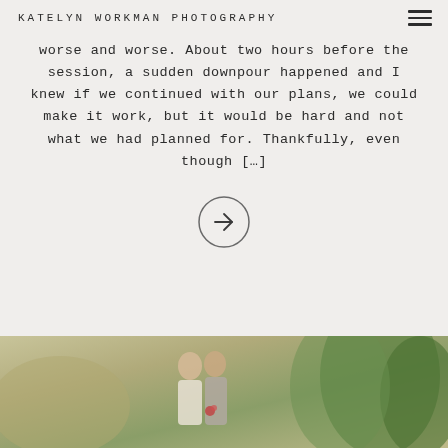KATELYN WORKMAN PHOTOGRAPHY
worse and worse. About two hours before the session, a sudden downpour happened and I knew if we continued with our plans, we could make it work, but it would be hard and not what we had planned for. Thankfully, even though […]
[Figure (other): Circular arrow button / navigation icon pointing right]
[Figure (photo): Photograph of a couple outdoors with greenery in background, partially visible at bottom of page]